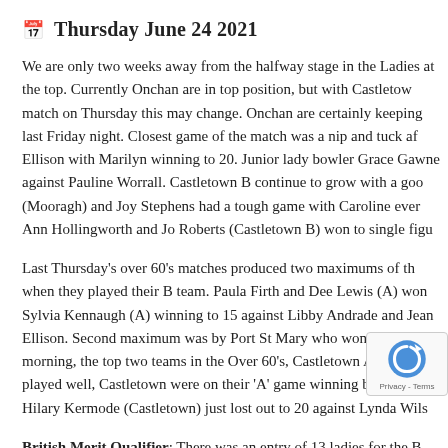📅 Thursday June 24 2021
We are only two weeks away from the halfway stage in the Ladies at the top. Currently Onchan are in top position, but with Castletow match on Thursday this may change. Onchan are certainly keeping last Friday night. Closest game of the match was a nip and tuck af Ellison with Marilyn winning to 20. Junior lady bowler Grace Gawne against Pauline Worrall. Castletown B continue to grow with a goo (Mooragh) and Joy Stephens had a tough game with Caroline ever Ann Hollingworth and Jo Roberts (Castletown B) won to single figu
Last Thursday's over 60's matches produced two maximums of th when they played their B team. Paula Firth and Dee Lewis (A) won Sylvia Kennaugh (A) winning to 15 against Libby Andrade and Jean Ellison. Second maximum was by Port St Mary who won comforta morning, the top two teams in the Over 60's, Castletown A and Pe played well, Castletown were on their 'A' game winning by four ga Hilary Kermode (Castletown) just lost out to 20 against Lynda Wils
British Merit Qualifier: There was an entry of 13 ladies for the B through to the semi-finals were Jenny Moore (South) ag against Lil Smith (Marown). Jenny and Janet were on to either way with both ladies playing exceptionally well, b Janet will both represent the IOM at the British Merit finals on Sat